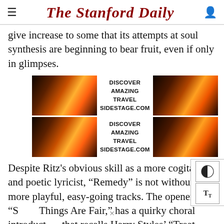The Stanford Daily
give increase to some that its attempts at soul synthesis are beginning to bear fruit, even if only in glimpses.
[Figure (other): Advertisement banner for SIDESTAGE.COM showing two rows each with a sunset/travel image on the left and right with text 'DISCOVER AMAZING TRAVEL SIDESTAGE.COM' in the center]
Despite Ritz's obvious skill as a more cogitative and poetic lyricist, "Remedy" is not without its more playful, easy-going tracks. The opener, "Some Things Are Fair," has a quirky choral introduction that recalls Harry Styles' "Treat People With